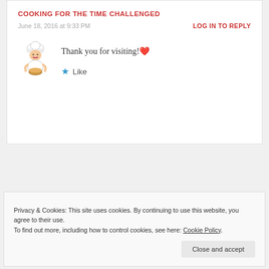COOKING FOR THE TIME CHALLENGED
June 18, 2016 at 9:33 PM
LOG IN TO REPLY
Thank you for visiting! ❤
★ Like
[Figure (infographic): Dark banner ad: Launch your online course with WordPress – Learn More button]
REPORT THIS AD
Privacy & Cookies: This site uses cookies. By continuing to use this website, you agree to their use.
To find out more, including how to control cookies, see here: Cookie Policy
Close and accept